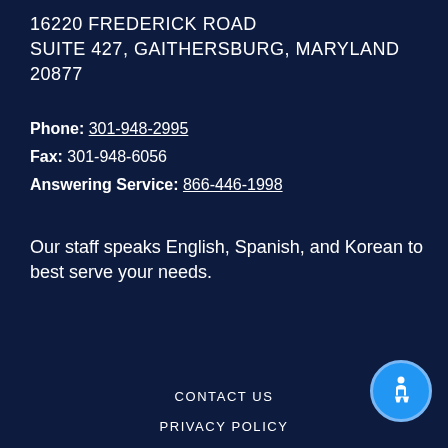16220 FREDERICK ROAD
SUITE 427, GAITHERSBURG, MARYLAND 20877
Phone: 301-948-2995
Fax: 301-948-6056
Answering Service: 866-446-1998
Our staff speaks English, Spanish, and Korean to best serve your needs.
[Figure (illustration): Facebook and LinkedIn social media icon buttons (blue circles with f and in logos), plus an accessibility icon (blue circle with person/wheelchair symbol)]
CONTACT US
PRIVACY POLICY